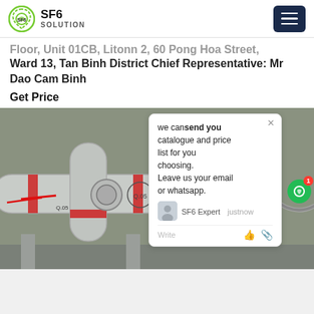SF6 SOLUTION
Floor, Unit 01CB, Litonn 2, 60 Pong Hoa Street, Ward 13, Tan Binh District Chief Representative: Mr Dao Cam Binh
Get Price
[Figure (photo): Industrial SF6 gas equipment showing pipes and valves with red markings and brass fittings, connected with flexible hoses, mounted on metal structure]
we cansend you catalogue and price list for you choosing. Leave us your email or whatsapp.
SF6 Expert   justnow
Write